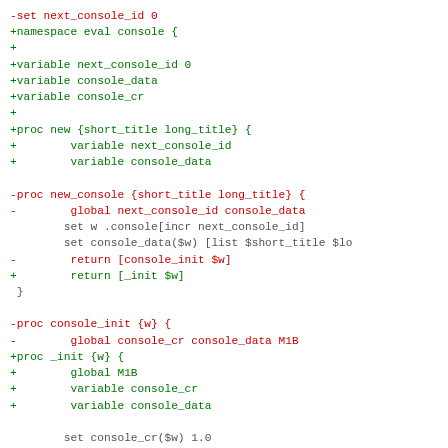[Figure (screenshot): Code diff showing Tcl source changes. Lines prefixed with '-' are shown in red (removed), lines prefixed with '+' are shown in green (added), lines with no prefix are shown in gray (context). A @@ hunk header is shown in blue at the bottom.]